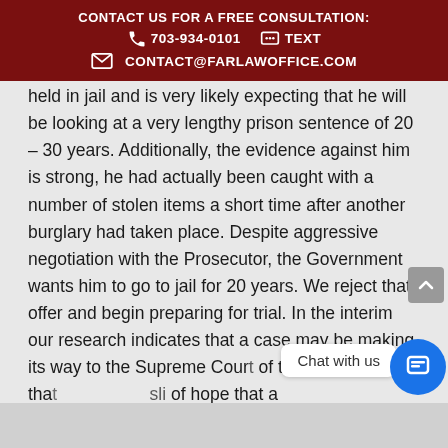CONTACT US FOR A FREE CONSULTATION: 703-934-0101  TEXT  CONTACT@FARLAWOFFICE.COM
held in jail and is very likely expecting that he will be looking at a very lengthy prison sentence of 20 – 30 years. Additionally, the evidence against him is strong, he had actually been caught with a number of stolen items a short time after another burglary had taken place. Despite aggressive negotiation with the Prosecutor, the Government wants him to go to jail for 20 years. We reject that offer and begin preparing for trial. In the interim our research indicates that a case may be making its way to the Supreme Court of the United States that [...]sl[...] of hope that a technicali[...] [...] t wi[...] help his case. We adjust our strategy to try to